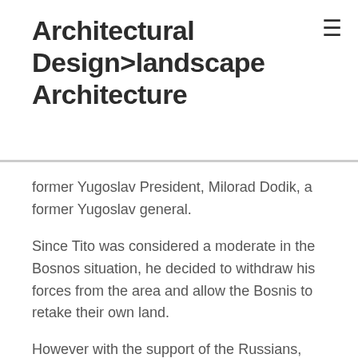Architectural Design>landscape Architecture
former Yugoslav President, Milorad Dodik, a former Yugoslav general.
Since Tito was considered a moderate in the Bosnos situation, he decided to withdraw his forces from the area and allow the Bosnis to retake their own land.
However with the support of the Russians, Tito withdrew his forces in 1995, and with the backing of the US and Britain, Yugoslavia continued to fight the Bosnamians.
During the last decades of the 20th century and the beginning of the 21st century,